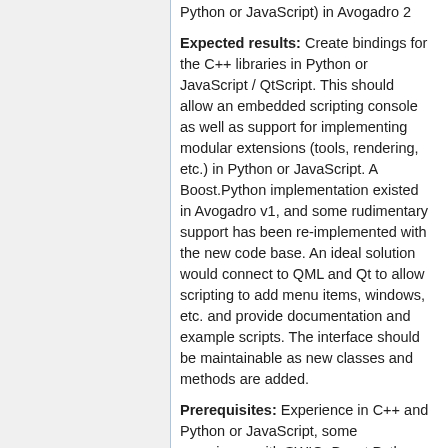Python or JavaScript) in Avogadro 2
Expected results: Create bindings for the C++ libraries in Python or JavaScript / QtScript. This should allow an embedded scripting console as well as support for implementing modular extensions (tools, rendering, etc.) in Python or JavaScript. A Boost.Python implementation existed in Avogadro v1, and some rudimentary support has been re-implemented with the new code base. An ideal solution would connect to QML and Qt to allow scripting to add menu items, windows, etc. and provide documentation and example scripts. The interface should be maintainable as new classes and methods are added.
Prerequisites: Experience in C++ and Python or JavaScript, some experience with SWIG, Boost.Python, or similar